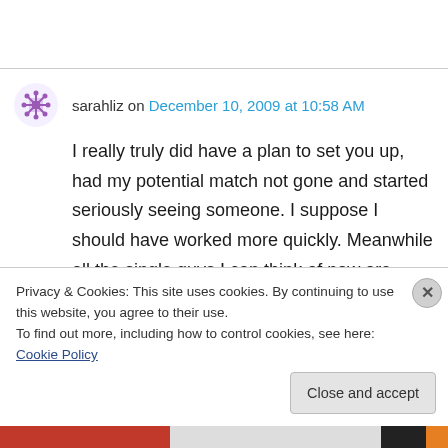sarahliz on December 10, 2009 at 10:58 AM
I really truly did have a plan to set you up, had my potential match not gone and started seriously seeing someone. I suppose I should have worked more quickly. Meanwhile all the single guys I can think of now are single for a reason.
Like
Privacy & Cookies: This site uses cookies. By continuing to use this website, you agree to their use.
To find out more, including how to control cookies, see here: Cookie Policy
Close and accept